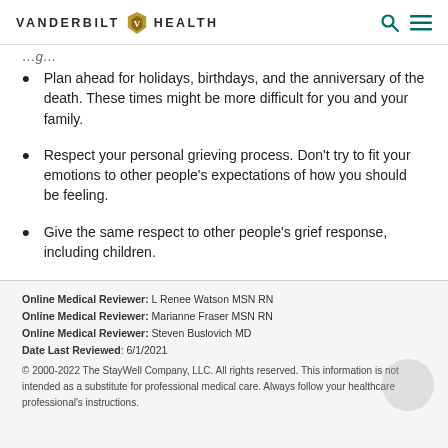VANDERBILT HEALTH
Plan ahead for holidays, birthdays, and the anniversary of the death. These times might be more difficult for you and your family.
Respect your personal grieving process. Don't try to fit your emotions to other people's expectations of how you should be feeling.
Give the same respect to other people's grief response, including children.
Online Medical Reviewer: L Renee Watson MSN RN
Online Medical Reviewer: Marianne Fraser MSN RN
Online Medical Reviewer: Steven Buslovich MD
Date Last Reviewed: 6/1/2021
© 2000-2022 The StayWell Company, LLC. All rights reserved. This information is not intended as a substitute for professional medical care. Always follow your healthcare professional's instructions.